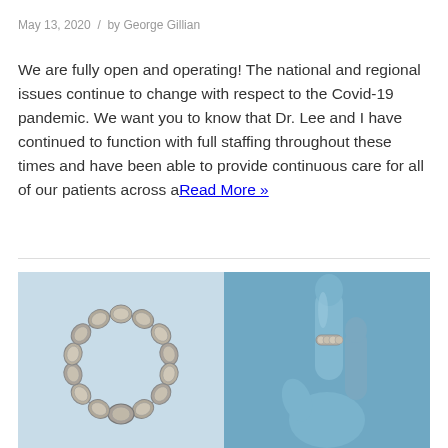May 13, 2020  /  by George Gillian
We are fully open and operating! The national and regional issues continue to change with respect to the Covid-19 pandemic. We want you to know that Dr. Lee and I have continued to function with full staffing throughout these times and have been able to provide continuous care for all of our patients across aRead More »
[Figure (photo): Medical device photo: left side shows a circular ring of metallic magnetic beads (LINX device) on a light blue background; right side shows a gloved hand (blue nitrile glove) holding a smaller ring of metallic beads on a finger, against a blue background.]